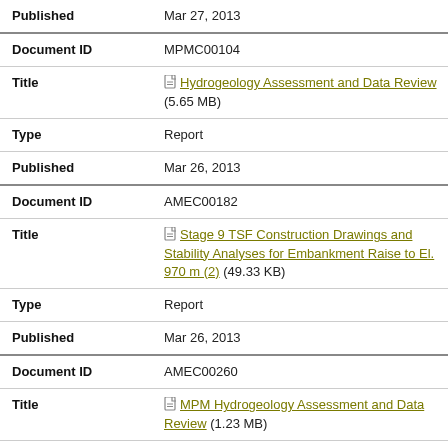| Published | Mar 27, 2013 |
| Document ID | MPMC00104 |
| Title | Hydrogeology Assessment and Data Review (5.65 MB) |
| Type | Report |
| Published | Mar 26, 2013 |
| Document ID | AMEC00182 |
| Title | Stage 9 TSF Construction Drawings and Stability Analyses for Embankment Raise to El. 970 m (2) (49.33 KB) |
| Type | Report |
| Published | Mar 26, 2013 |
| Document ID | AMEC00260 |
| Title | MPM Hydrogeology Assessment and Data Review (1.23 MB) |
| Type | Binder - Report |